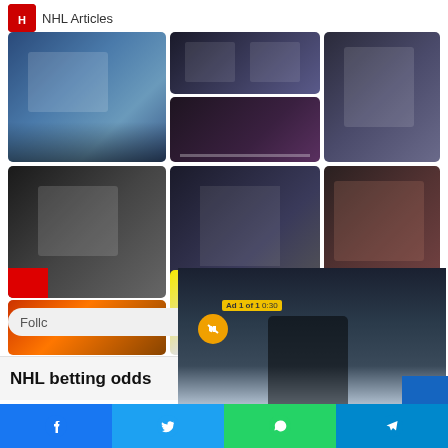NHL Articles
[Figure (photo): Grid of NHL hockey photos including game action shots, award ceremonies with trophies, a musician (Gavin DeGraw), and player photos]
Follow
[Figure (screenshot): Video player overlay showing 'Up Next - All 7 of Mason McTavish's Rou...' with a close button, ad label '1 of 1 0:30', mute button, and hockey player video]
NHL betting odds
[Figure (infographic): Social share bar with Facebook, Twitter, WhatsApp, and Telegram icons]